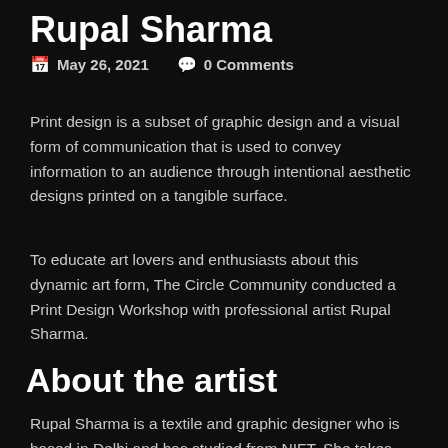Rupal Sharma
May 26, 2021   0 Comments
Print design is a subset of graphic design and a visual form of communication that is used to convey information to an audience through intentional aesthetic designs printed on a tangible surface.
To educate art lovers and enthusiasts about this dynamic art form, The Circle Community conducted a Print Design Workshop with professional artist Rupal Sharma.
About the artist
Rupal Sharma is a textile and graphic designer who is based in Delhi and has studied from NIFT. She takes